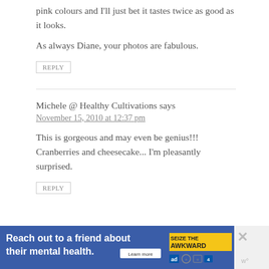pink colours and I'll just bet it tastes twice as good as it looks.
As always Diane, your photos are fabulous.
REPLY
Michele @ Healthy Cultivations says
November 15, 2010 at 12:37 pm
This is gorgeous and may even be genius!!! Cranberries and cheesecake... I'm pleasantly surprised.
REPLY
[Figure (infographic): Advertisement banner: 'Reach out to a friend about their mental health. Learn more' with SEIZE THE AWKWARD badge and media logos.]